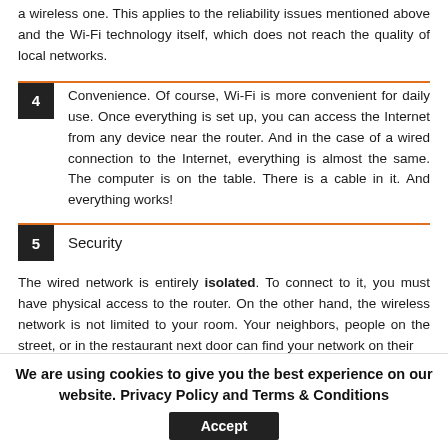a wireless one. This applies to the reliability issues mentioned above and the Wi-Fi technology itself, which does not reach the quality of local networks.
4 Convenience. Of course, Wi-Fi is more convenient for daily use. Once everything is set up, you can access the Internet from any device near the router. And in the case of a wired connection to the Internet, everything is almost the same. The computer is on the table. There is a cable in it. And everything works!
5 Security
The wired network is entirely isolated. To connect to it, you must have physical access to the router. On the other hand, the wireless network is not limited to your room. Your neighbors, people on the street, or in the restaurant next door can find your network on their
We are using cookies to give you the best experience on our website. Privacy Policy and Terms & Conditions
Accept